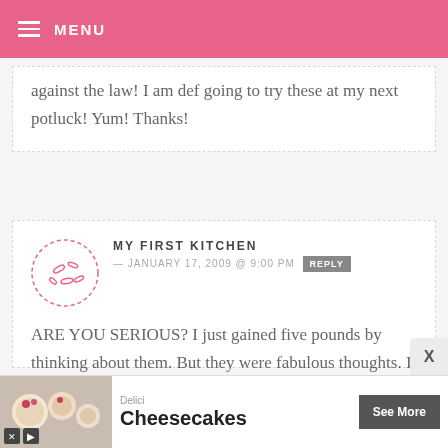MENU
against the law! I am def going to try these at my next potluck! Yum! Thanks!
MY FIRST KITCHEN — JANUARY 17, 2009 @ 9:00 PM REPLY
ARE YOU SERIOUS? I just gained five pounds by thinking about them. But they were fabulous thoughts. I might have to cave.
[Figure (infographic): Advertisement banner for Delici Cheesecakes with See More button]